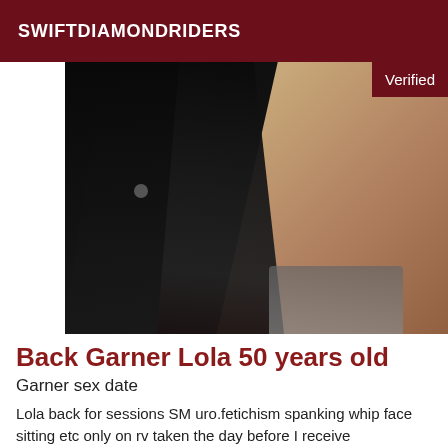SWIFTDIAMONDRIDERS
[Figure (photo): A person with long dark hair photographed from behind/side, wearing a dark top, with warm-toned background. A 'Verified' badge appears in the top-right corner of the image.]
Back Garner Lola 50 years old
Garner sex date
Lola back for sessions SM uro.fetichism spanking whip face sitting etc only on rv taken the day before I receive